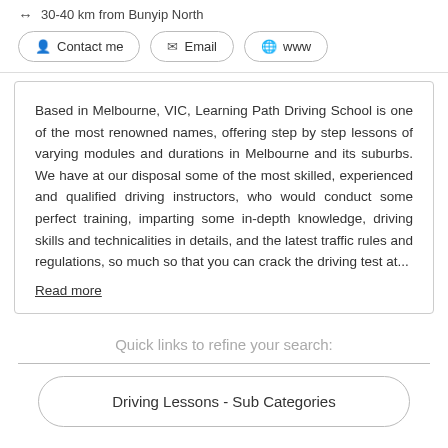30-40 km from Bunyip North
Contact me
Email
www
Based in Melbourne, VIC, Learning Path Driving School is one of the most renowned names, offering step by step lessons of varying modules and durations in Melbourne and its suburbs. We have at our disposal some of the most skilled, experienced and qualified driving instructors, who would conduct some perfect training, imparting some in-depth knowledge, driving skills and technicalities in details, and the latest traffic rules and regulations, so much so that you can crack the driving test at... Read more
Quick links to refine your search:
Driving Lessons - Sub Categories
Car Driving Lessons